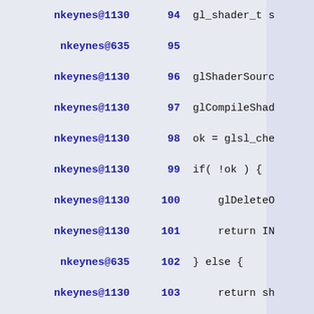nkeynes@1130  94  gl_shader_t s
nkeynes@635   95
nkeynes@1130  96  glShaderSourc
nkeynes@1130  97  glCompileShad
nkeynes@1130  98  ok = glsl_che
nkeynes@1130  99  if( !ok ) {
nkeynes@1130  100     glDeleteO
nkeynes@1130  101     return IN
nkeynes@635   102  } else {
nkeynes@1130  103     return sh
nkeynes@635   104  }